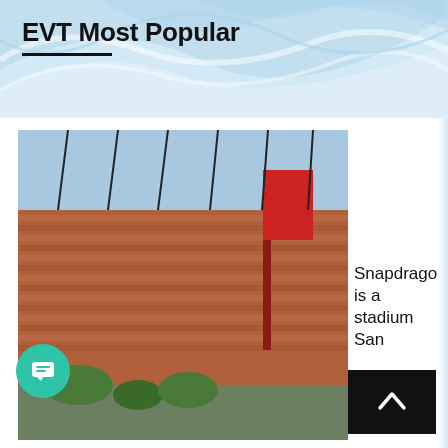EVT Most Popular
[Figure (photo): Snapdragon stadium exterior with seating stands visible, red banners, sunshine]
Snapdragon is a stadium San Diego has never seen by Paul Garrison
[Figure (photo): Snapdragon Stadium exterior with STOP sign and spires visible against blue sky]
Preview: SDSU Scrimmage at Snapdragon Stadium by Paul Garrison
[Figure (photo): Third article thumbnail photo - partial view at bottom]